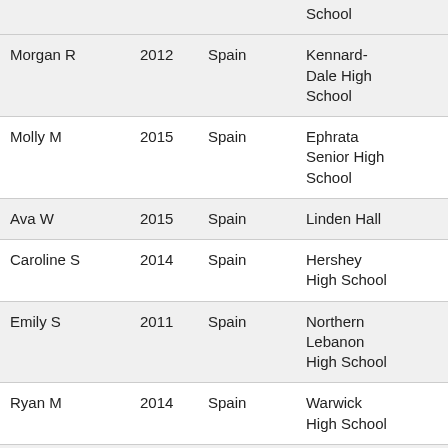| Name | Year | Country | School | Link |
| --- | --- | --- | --- | --- |
|  |  |  | School |  |
| Morgan R | 2012 | Spain | Kennard-Dale High School |  |
| Molly M | 2015 | Spain | Ephrata Senior High School |  |
| Ava W | 2015 | Spain | Linden Hall |  |
| Caroline S | 2014 | Spain | Hershey High School |  |
| Emily S | 2011 | Spain | Northern Lebanon High School |  |
| Ryan M | 2014 | Spain | Warwick High School |  |
| Bri M | 2014 | Spain | Lampeter Strasburg High School | A Spain Advent... |